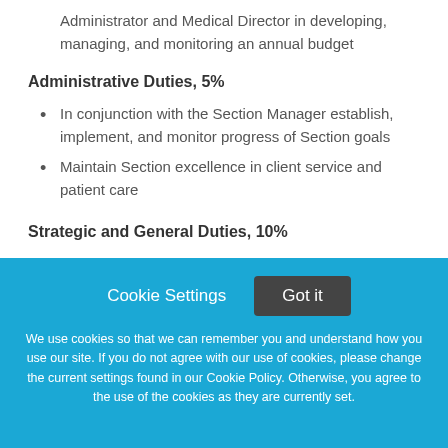Administrator and Medical Director in developing, managing, and monitoring an annual budget
Administrative Duties, 5%
In conjunction with the Section Manager establish, implement, and monitor progress of Section goals
Maintain Section excellence in client service and patient care
Strategic and General Duties, 10%
Cookie Settings  Got it

We use cookies so that we can remember you and understand how you use our site. If you do not agree with our use of cookies, please change the current settings found in our Cookie Policy. Otherwise, you agree to the use of the cookies as they are currently set.